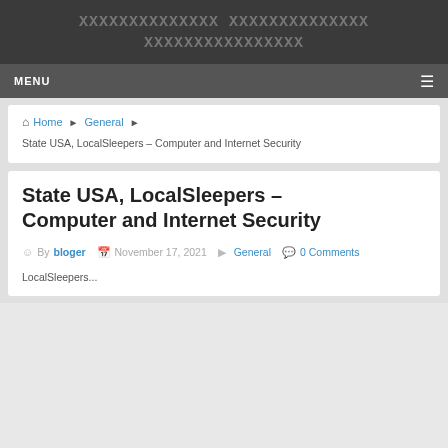XXXXXXXXXXXXXX XXXXXXXXXXXXXX XXXXXXXXXXXXXXXX
MENU ☰
Home ▶ General ▶ State USA, LocalSleepers – Computer and Internet Security
State USA, LocalSleepers – Computer and Internet Security
By bloger  November 17, 2021  General  0 Comments
LocalSleepers...